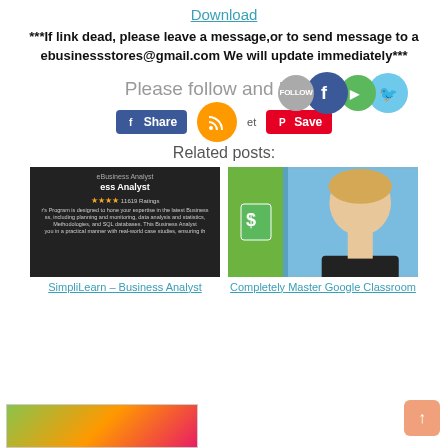Download
***If link dead, please leave a message,or to send message to a ebusinessstores@gmail.com We will update immediately***
[Figure (infographic): Social media follow/share bar with overlapping circles (Follow, Facebook, YouTube/Google+, Twitter) and share buttons (Facebook Share, RSS feed, Pinterest Save)]
Related posts:
[Figure (photo): Two related post thumbnail images side by side: left shows a dark-background Business Analyst course thumbnail with star ratings; right shows a smiling man against blue background with a green dollar sign book icon]
SimpliLearn – Business Analyst
Completely Master Google Classroom
[Figure (photo): Partial thumbnail image at bottom of page, colorful gradient]
[Figure (other): Back to top arrow button in bottom right corner]